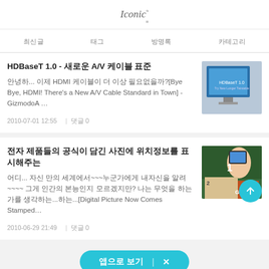Iconic
최신글
태그
방명록
카테고리
HDBaseT 1.0 - 새로운 A/V 케이블 표준
안녕하... 이제 HDMI 케이블이 더 이상 필요없을까?[Bye Bye, HDMI! There's a New A/V Cable Standard in Town] - GizmodoA ...
2010-07-01 12:55  |  댓글 0
[Figure (photo): Monitor/TV display showing HDBaseT 1.0 logo]
전자 제품들의 공식이 담긴 사진에 위치정보를 표시해주는
어디... 자신 만의 세계에서~~~누군가에게 내자신을 알려~~~~ 그게 인간의 본능인지 모르겠지만? 나는 무엇을 하는가를...하는...[Digital Picture Now Comes Stamped...
2010-06-29 21:49  |  댓글 0
[Figure (photo): Person taking photo of stamp/product with phone at event]
앱으로 보기  |  ×